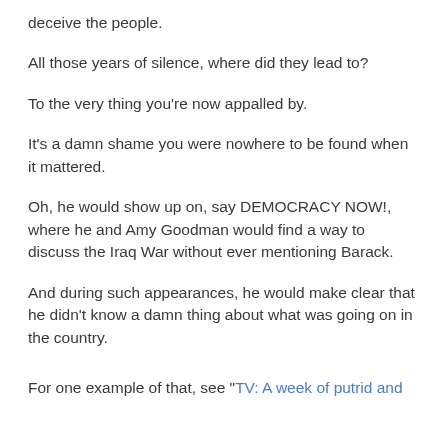deceive the people.
All those years of silence, where did they lead to?
To the very thing you're now appalled by.
It's a damn shame you were nowhere to be found when it mattered.
Oh, he would show up on, say DEMOCRACY NOW!, where he and Amy Goodman would find a way to discuss the Iraq War without ever mentioning Barack.
And during such appearances, he would make clear that he didn't know a damn thing about what was going on in the country.
For one example of that, see "TV: A week of putrid and